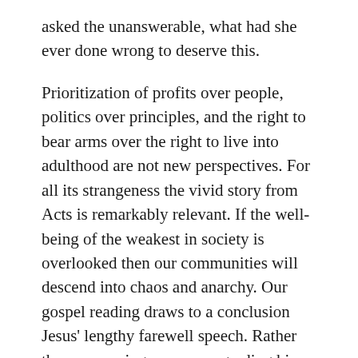asked the unanswerable, what had she ever done wrong to deserve this.
Prioritization of profits over people, politics over principles, and the right to bear arms over the right to live into adulthood are not new perspectives. For all its strangeness the vivid story from Acts is remarkably relevant. If the well-being of the weakest in society is overlooked then our communities will descend into chaos and anarchy. Our gospel reading draws to a conclusion Jesus' lengthy farewell speech. Rather than expressing concern regarding his own fate, Jesus instead speaks about those unknown by the powerful in the world. His desire is not to retain, but to share his glory, and that those unnamed and unknown in human society might find their identity and sense of being as part of the inner life and community that exists between the Father and the Son. In this way,